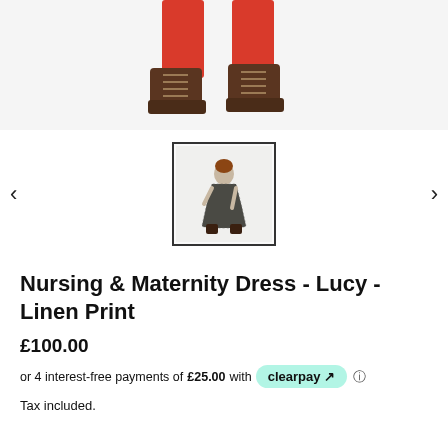[Figure (photo): Top portion of a product photo showing a person wearing red trousers and brown lace-up boots on a white background]
[Figure (photo): Thumbnail image of a woman wearing a dark patterned nursing and maternity dress, mid-length, with brown boots]
Nursing & Maternity Dress - Lucy - Linen Print
£100.00
or 4 interest-free payments of £25.00 with clearpay
Tax included.